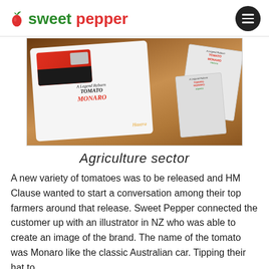sweet pepper
[Figure (photo): Photo of merchandise items including a t-shirt and seed packets branded with 'A Legend Reborn Tomato Monaro' featuring a red classic Australian car illustration, Hazera branding, displayed on a wooden surface.]
Agriculture sector
A new variety of tomatoes was to be released and HM Clause wanted to start a conversation among their top farmers around that release. Sweet Pepper connected the customer up with an illustrator in NZ who was able to create an image of the brand. The name of the tomato was Monaro like the classic Australian car. Tipping their hat to